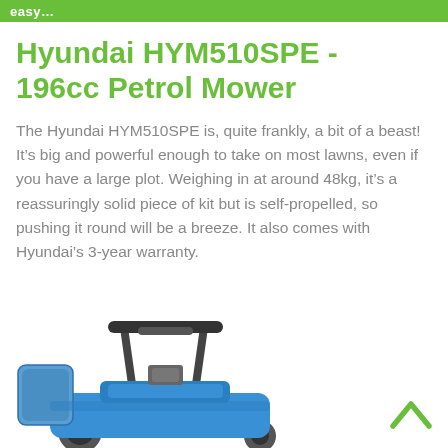easy...
Hyundai HYM510SPE - 196cc Petrol Mower
The Hyundai HYM510SPE is, quite frankly, a bit of a beast! It’s big and powerful enough to take on most lawns, even if you have a large plot. Weighing in at around 48kg, it’s a reassuringly solid piece of kit but is self-propelled, so pushing it round will be a breeze. It also comes with Hyundai’s 3-year warranty.
[Figure (photo): Blue and grey Hyundai HYM510SPE self-propelled petrol lawn mower viewed from the side/rear, showing handle and grass collector bag.]